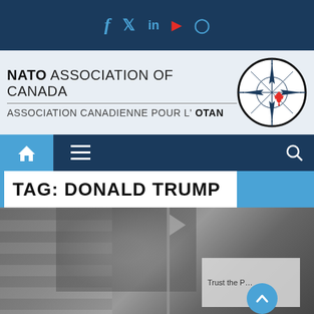[Figure (screenshot): Dark navy top bar with social media icons: Facebook, Twitter, LinkedIn, YouTube, Instagram in blue and red]
[Figure (logo): NATO Association of Canada / Association Canadienne Pour L'OTAN logo with compass rose and Canadian maple leaf emblem on light blue background]
[Figure (screenshot): Navigation bar with home icon, hamburger menu icon on dark navy, and search icon on right]
TAG: DONALD TRUMP
[Figure (photo): Black and white photograph showing a brick building with trees, and a partial sign reading 'Trust the P...' in the lower right]